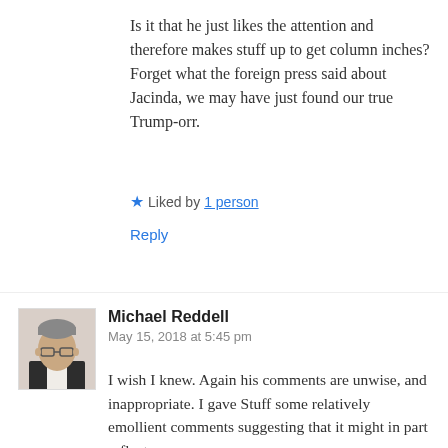Is it that he just likes the attention and therefore makes stuff up to get column inches? Forget what the foreign press said about Jacinda, we may have just found our true Trump-orr.
★ Liked by 1 person
Reply
[Figure (photo): Profile photo of Michael Reddell, a middle-aged man with glasses wearing a dark jacket]
Michael Reddell
May 15, 2018 at 5:45 pm
I wish I knew. Again his comments are unwise, and inappropriate. I gave Stuff some relatively emollient comments suggesting that it might in part reflect